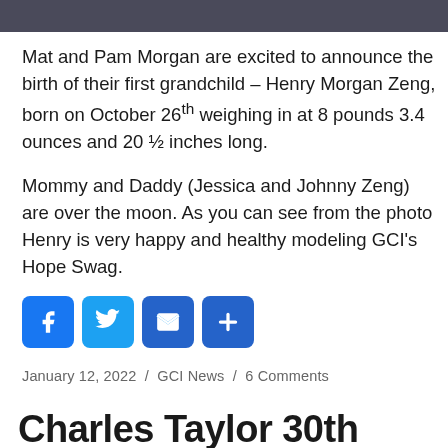[Figure (photo): Photo strip at top of page showing partial image of people]
Mat and Pam Morgan are excited to announce the birth of their first grandchild – Henry Morgan Zeng, born on October 26th weighing in at 8 pounds 3.4 ounces and 20 ½ inches long.
Mommy and Daddy (Jessica and Johnny Zeng) are over the moon. As you can see from the photo Henry is very happy and healthy modeling GCI's Hope Swag.
[Figure (other): Social share icons: Facebook, Twitter, Email, Plus]
January 12, 2022  /  GCI News  /  6 Comments
Charles Taylor 30th Baptist...